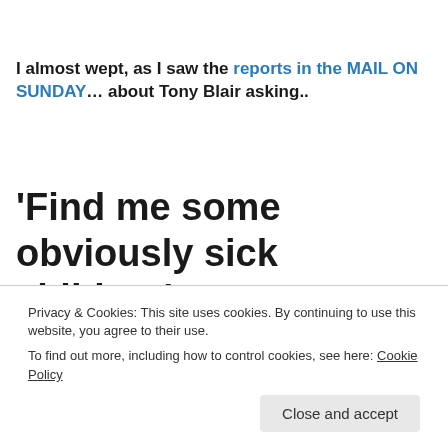I almost wept, as I saw the reports in the MAIL ON SUNDAY… about Tony Blair asking..
'Find me some obviously sick children'
Privacy & Cookies: This site uses cookies. By continuing to use this website, you agree to their use.
To find out more, including how to control cookies, see here: Cookie Policy